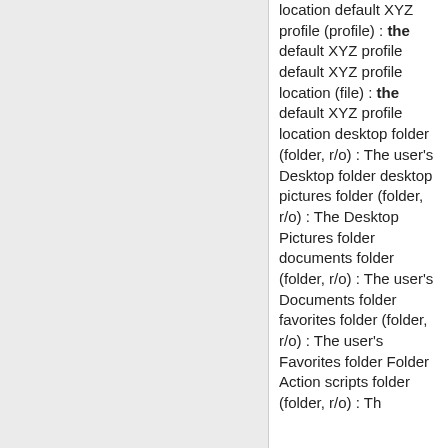location default XYZ profile (profile) : the default XYZ profile default XYZ profile location (file) : the default XYZ profile location desktop folder (folder, r/o) : The user's Desktop folder desktop pictures folder (folder, r/o) : The Desktop Pictures folder documents folder (folder, r/o) : The user's Documents folder favorites folder (folder, r/o) : The user's Favorites folder Folder Action scripts folder (folder, r/o) : The